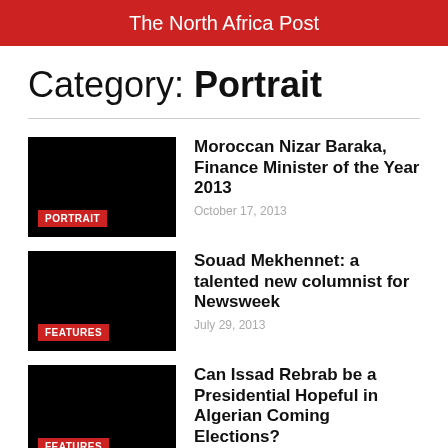The North Africa Post
Category: Portrait
Moroccan Nizar Baraka, Finance Minister of the Year 2013
October 17, 2013
Souad Mekhennet: a talented new columnist for Newsweek
July 29, 2013
Can Issad Rebrab be a Presidential Hopeful in Algerian Coming Elections?
May 4, 2013